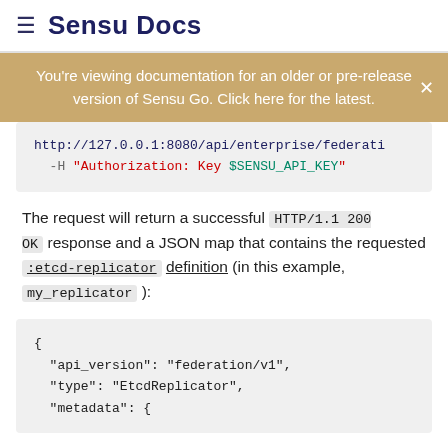≡ Sensu Docs
You're viewing documentation for an older or pre-release version of Sensu Go. Click here for the latest.
http://127.0.0.1:8080/api/enterprise/federati
-H "Authorization: Key $SENSU_API_KEY"
The request will return a successful HTTP/1.1 200 OK response and a JSON map that contains the requested :etcd-replicator definition (in this example, my_replicator ):
{
  "api_version": "federation/v1",
  "type": "EtcdReplicator",
  "metadata": {